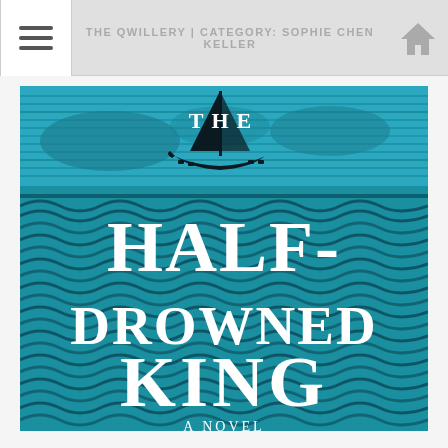THE QWILLERY | CATEGORY: SOPHIE CHEN KELLER
[Figure (illustration): Book cover of 'The Half-Drowned King' showing a Viking longship silhouette on a teal/blue ocean with large white serif text. The title reads 'THE HALF-DROWNED KING' and below partially visible 'A NOVEL'.]